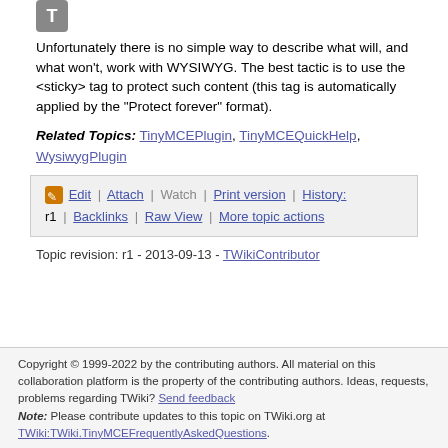Unfortunately there is no simple way to describe what will, and what won't, work with WYSIWYG. The best tactic is to use the <sticky> tag to protect such content (this tag is automatically applied by the "Protect forever" format).
Related Topics: TinyMCEPlugin, TinyMCEQuickHelp, WysiwygPlugin
| Edit | Attach | Watch | Print version | History: r1 | Backlinks | Raw View | More topic actions |
Topic revision: r1 - 2013-09-13 - TWikiContributor
Copyright © 1999-2022 by the contributing authors. All material on this collaboration platform is the property of the contributing authors. Ideas, requests, problems regarding TWiki? Send feedback Note: Please contribute updates to this topic on TWiki.org at TWiki:TWiki.TinyMCEFrequentlyAskedQuestions.